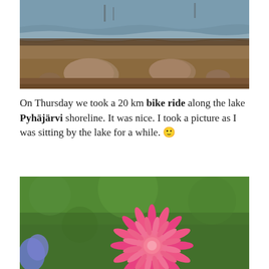[Figure (photo): Photograph of a rocky lake shoreline with water, stones, and pebbles in the foreground. The lake water has small waves and there is a dock or pier visible in the distance.]
On Thursday we took a 20 km bike ride along the lake Pyhäjärvi shoreline. It was nice. I took a picture as I was sitting by the lake for a while. 🙂
[Figure (photo): Close-up photograph of a bright pink dahlia or similar spiky flower in full bloom against a blurred green grass background. A purple flower is partially visible on the left side.]